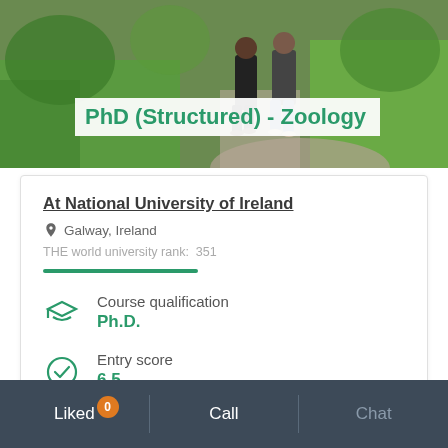[Figure (photo): People walking on a path with green grass in the background, university campus setting]
PhD (Structured) - Zoology
At National University of Ireland
Galway, Ireland
THE world university rank:  351
Course qualification
Ph.D.
Entry score
6.5
Liked  0    Call    Chat